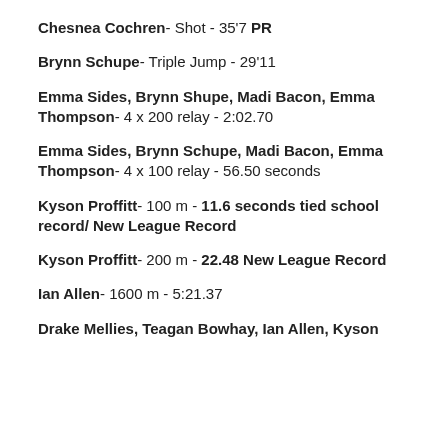Chesnea Cochren- Shot - 35'7 PR
Brynn Schupe- Triple Jump - 29'11
Emma Sides, Brynn Shupe, Madi Bacon, Emma Thompson- 4 x 200 relay - 2:02.70
Emma Sides, Brynn Schupe, Madi Bacon, Emma Thompson- 4 x 100 relay - 56.50 seconds
Kyson Proffitt- 100 m - 11.6 seconds tied school record/ New League Record
Kyson Proffitt- 200 m - 22.48 New League Record
Ian Allen- 1600 m - 5:21.37
Drake Mellies, Teagan Bowhay, Ian Allen, Kyson